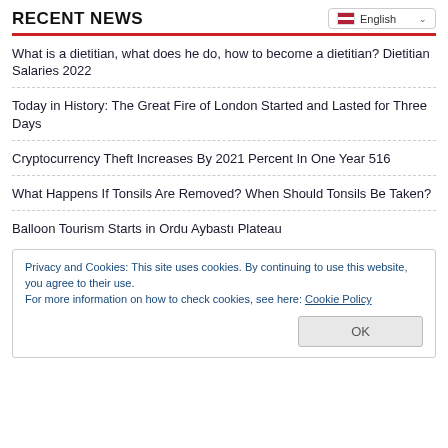RECENT NEWS
What is a dietitian, what does he do, how to become a dietitian? Dietitian Salaries 2022
Today in History: The Great Fire of London Started and Lasted for Three Days
Cryptocurrency Theft Increases By 2021 Percent In One Year 516
What Happens If Tonsils Are Removed? When Should Tonsils Be Taken?
Balloon Tourism Starts in Ordu Aybastı Plateau
Privacy and Cookies: This site uses cookies. By continuing to use this website, you agree to their use. For more information on how to check cookies, see here: Cookie Policy